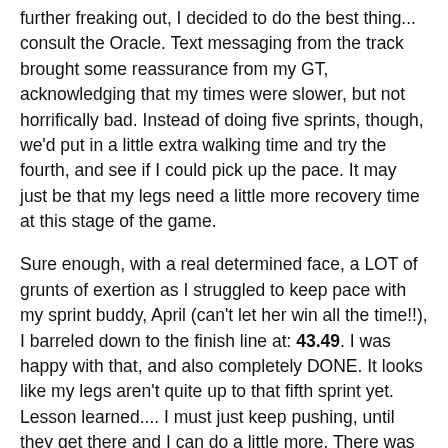further freaking out, I decided to do the best thing... consult the Oracle. Text messaging from the track brought some reassurance from my GT, acknowledging that my times were slower, but not horrifically bad. Instead of doing five sprints, though, we'd put in a little extra walking time and try the fourth, and see if I could pick up the pace. It may just be that my legs need a little more recovery time at this stage of the game.
Sure enough, with a real determined face, a LOT of grunts of exertion as I struggled to keep pace with my sprint buddy, April (can't let her win all the time!!), I barreled down to the finish line at: 43.49. I was happy with that, and also completely DONE. It looks like my legs aren't quite up to that fifth sprint yet. Lesson learned.... I must just keep pushing, until they get there and I can do a little more. There was a time that sprints under 50 seconds were murderous. One WOD at a time.
With that, I go on an active recovery (AHHH... ice bath and walking!), to prep for this weekend's race. I'm running twice this weekend, with a myriad of Spartans new and old, and I couldn't be happier. YIKES! What a life this is!!!